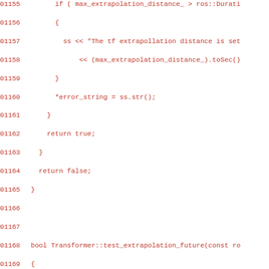[Figure (other): Source code listing in C++ showing lines 01155-01185, displaying functions related to tf extrapolation distance checking, in dark red monospace font on white background.]